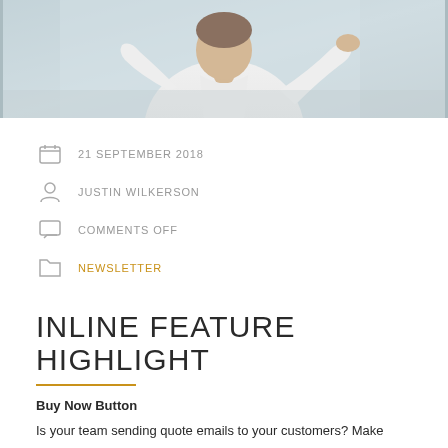[Figure (photo): Photo of a man in a white shirt, upper body, light background]
21 SEPTEMBER 2018
JUSTIN WILKERSON
COMMENTS OFF
NEWSLETTER
INLINE FEATURE HIGHLIGHT
Buy Now Button
Is your team sending quote emails to your customers? Make